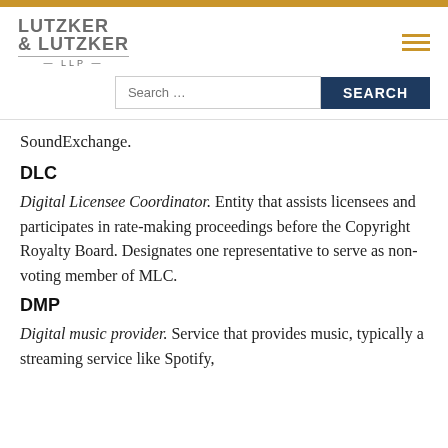Lutzker & Lutzker LLP
SoundExchange.
DLC
Digital Licensee Coordinator. Entity that assists licensees and participates in rate-making proceedings before the Copyright Royalty Board. Designates one representative to serve as non-voting member of MLC.
DMP
Digital music provider. Service that provides music, typically a streaming service like Spotify,